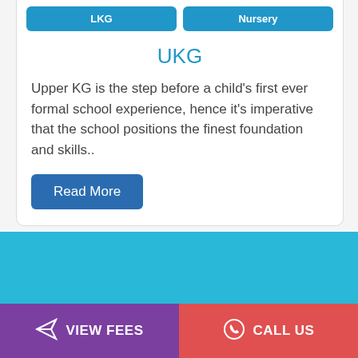UKG
Upper KG is the step before a child's first ever formal school experience, hence it's imperative that the school positions the finest foundation and skills..
Read More
Best Pre-School, Play School, Creche & Day Care in Sector 51, Noida
VIEW FEES
CALL US